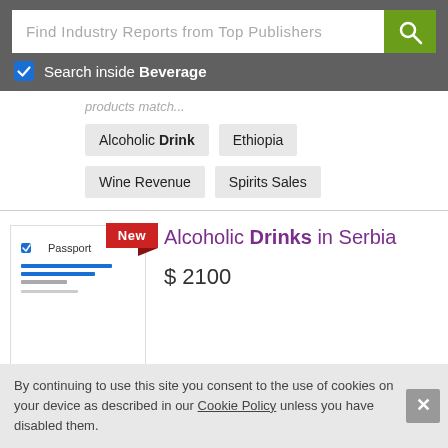Find Industry Reports from Top Publishers
Search inside Beverage
products match...
Alcoholic Drink
Ethiopia
Wine Revenue
Spirits Sales
Alcoholic Drinks in Serbia
$ 2100
By continuing to use this site you consent to the use of cookies on your device as described in our Cookie Policy unless you have disabled them.